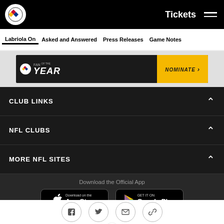Tickets | Menu (hamburger)
Labriola On | Asked and Answered | Press Releases | Game Notes
[Figure (infographic): Fan of the Year banner ad with Steelers logo and Nominate button]
CLUB LINKS
NFL CLUBS
MORE NFL SITES
Download the Official App
[Figure (logo): App Store download button]
[Figure (logo): Google Play download button]
[Figure (logo): Steelers logo circle at bottom center]
[Figure (infographic): Social share icons: Facebook, Twitter, Email, Link]